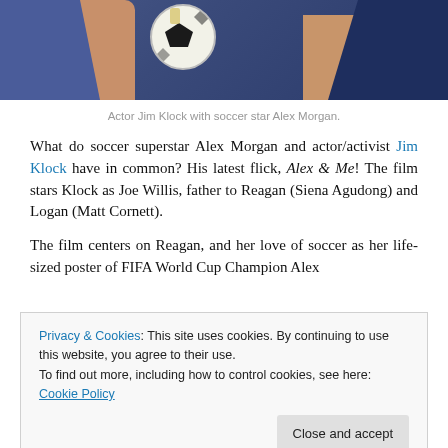[Figure (photo): Photo of actor Jim Klock with soccer star Alex Morgan, two people holding a soccer ball]
Actor Jim Klock with soccer star Alex Morgan.
What do soccer superstar Alex Morgan and actor/activist Jim Klock have in common? His latest flick, Alex & Me! The film stars Klock as Joe Willis, father to Reagan (Siena Agudong) and Logan (Matt Cornett).
The film centers on Reagan, and her love of soccer as her life-sized poster of FIFA World Cup Champion Alex
Privacy & Cookies: This site uses cookies. By continuing to use this website, you agree to their use.
To find out more, including how to control cookies, see here: Cookie Policy
We spoke with Jim Klock on the new film, his passion for